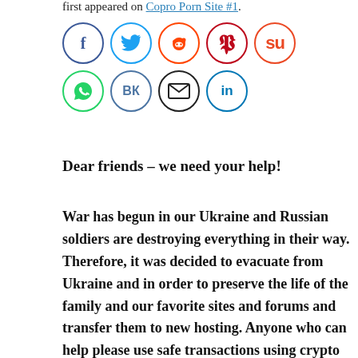first appeared on Copro Porn Site #1.
[Figure (infographic): Row of social media share icons in circles: Facebook (blue), Twitter (light blue), Reddit (orange-red), Pinterest (red), StumbleUpon (orange), WhatsApp (green), VK (blue), Email (black), LinkedIn (blue)]
Dear friends – we need your help!
War has begun in our Ukraine and Russian soldiers are destroying everything in their way. Therefore, it was decided to evacuate from Ukraine and in order to preserve the life of the family and our favorite sites and forums and transfer them to new hosting. Anyone who can help please use safe transactions using crypto or email to me scatrequests@protonmail.com for other ways